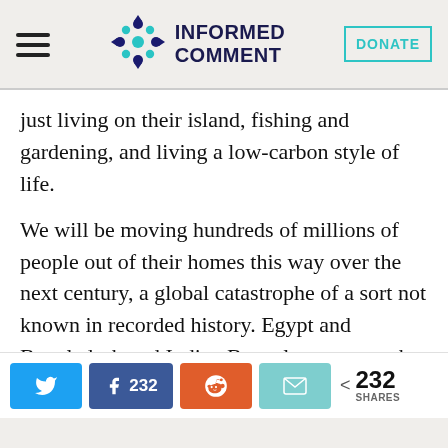INFORMED COMMENT
just living on their island, fishing and gardening, and living a low-carbon style of life.
We will be moving hundreds of millions of people out of their homes this way over the next century, a global catastrophe of a sort not known in recorded history. Egypt and Bangladesh and Indian Bengal are among the most threatened. Also the cities of Miami and New Orleans.
232 SHARES